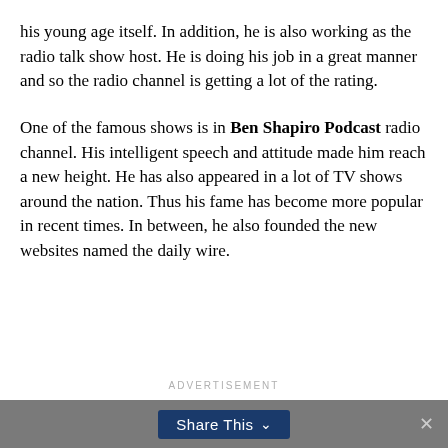his young age itself. In addition, he is also working as the radio talk show host. He is doing his job in a great manner and so the radio channel is getting a lot of the rating.
One of the famous shows is in Ben Shapiro Podcast radio channel. His intelligent speech and attitude made him reach a new height. He has also appeared in a lot of TV shows around the nation. Thus his fame has become more popular in recent times. In between, he also founded the new websites named the daily wire.
ADVERTISEMENT
Share This